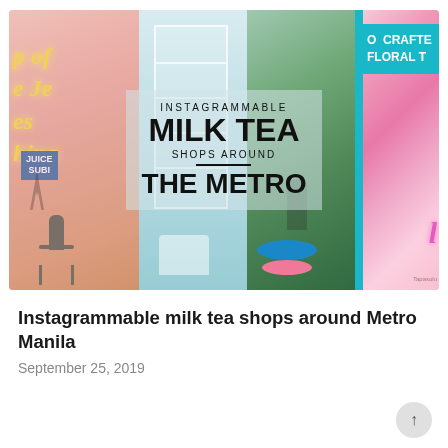[Figure (photo): Collage of instagrammable milk tea shops showing colorful interiors with floral walls, teal cafe, and pink decorations. Text overlay reads: INSTAGRAMMABLE MILK TEA SHOPS AROUND THE METRO. Also shows CRAFTED FLORAL T[EA] signage in top right.]
Instagrammable milk tea shops around Metro Manila
September 25, 2019